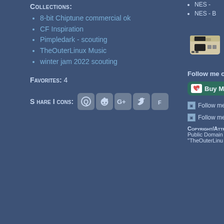Collections:
8-bit Chiptune commercial ok
CF Inspiration
Pimpledark - scouting
TheOuterLinux Music
winter jam 2022 scouting
Favorites: 4
Share Icons: [Q] [reddit] [G+] [twitter] [facebook]
NES -
NES - B
[Figure (photo): NES console image]
Follow me on
Buy Me
Follow me o
Follow me o
Copyright/Attr
Public Domain
"TheOuterLinu